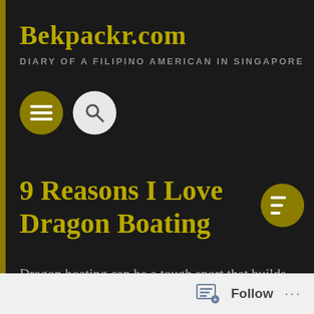Bekpackr.com
DIARY OF A FILIPINO AMERICAN IN SINGAPORE
9 Reasons I Love Dragon Boating
Dragon boating can be a tough sport that builds you physically, mentally, and emotionally. For me, it is about trying to be strong in all three